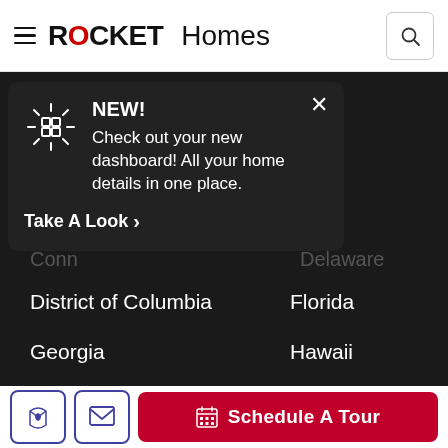ROCKET Homes
[Figure (screenshot): Rocket Homes navigation header with hamburger menu, logo, and search icon]
NEW!
Check out your new dashboard! All your home details in one place.
Take A Look >
District of Columbia
Florida
Georgia
Hawaii
Idaho
Illinois
Indiana
Iowa
Schedule A Tour